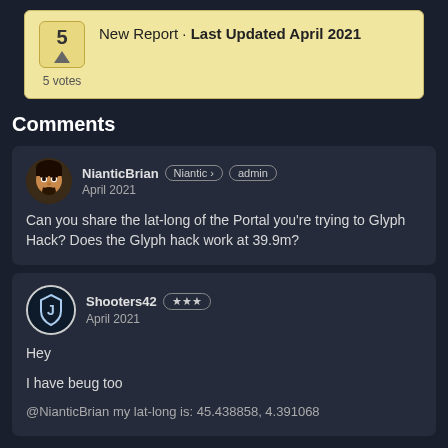5 · New Report · Last Updated April 2021 · 5 votes
Comments
NianticBrian [Niantic] [admin] April 2021
Can you share the lat-long of the Portal you're trying to Glyph Hack? Does the Glyph hack work at 39.9m?
Shooters42 [★★★] April 2021
Hey

I have beug too

@NianticBrian my lat-long is: 45.438858, 4.391068